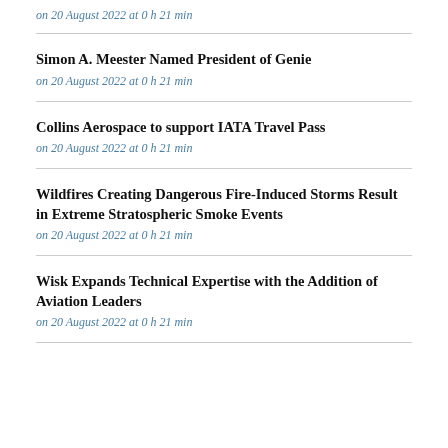on 20 August 2022 at 0 h 21 min
Simon A. Meester Named President of Genie
on 20 August 2022 at 0 h 21 min
Collins Aerospace to support IATA Travel Pass
on 20 August 2022 at 0 h 21 min
Wildfires Creating Dangerous Fire-Induced Storms Result in Extreme Stratospheric Smoke Events
on 20 August 2022 at 0 h 21 min
Wisk Expands Technical Expertise with the Addition of Aviation Leaders
on 20 August 2022 at 0 h 21 min